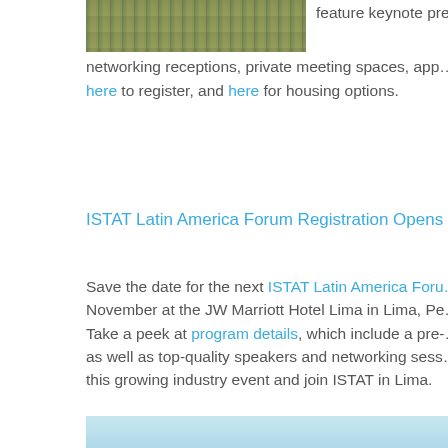[Figure (photo): Crowd photo strip at top of page]
feature keynote pres…
networking receptions, private meeting spaces, app…
here to register, and here for housing options.
ISTAT Latin America Forum Registration Opens 27 A…
Save the date for the next ISTAT Latin America Foru… November at the JW Marriott Hotel Lima in Lima, Pe… Take a peek at program details, which include a pre- as well as top-quality speakers and networking sess… this growing industry event and join ISTAT in Lima.
[Figure (photo): Light blue banner image at bottom]